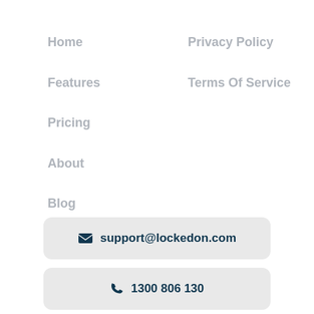Home
Privacy Policy
Features
Terms Of Service
Pricing
About
Blog
Get Started
support@lockedon.com
1300 806 130